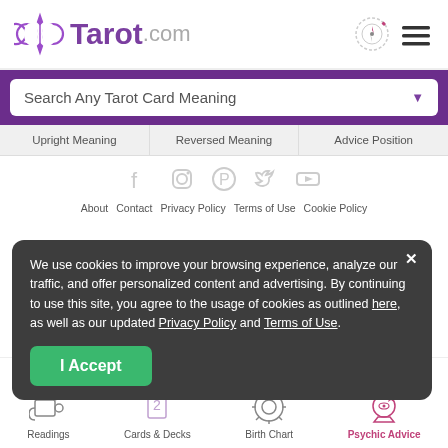Tarot.com
Search Any Tarot Card Meaning
Upright Meaning   Reversed Meaning   Advice Position
[Figure (illustration): Social media icons: Facebook, Instagram, Pinterest, Twitter, YouTube]
About  Contact  Privacy Policy  Terms of Use  Cookie Policy
We use cookies to improve your browsing experience, analyze our traffic, and offer personalized content and advertising. By continuing to use this site, you agree to the usage of cookies as outlined here, as well as our updated Privacy Policy and Terms of Use.
I Accept
Part of Zannallas USA © 2022
VIEW OUR SISTER SITES
[Figure (illustration): Bottom navigation icons: Readings, Cards & Decks, Birth Chart, Psychic Advice]